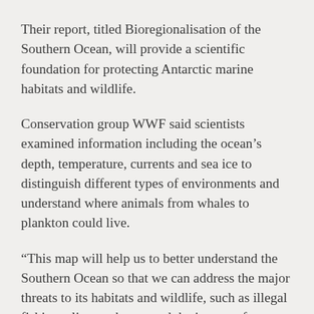Their report, titled Bioregionalisation of the Southern Ocean, will provide a scientific foundation for protecting Antarctic marine habitats and wildlife.
Conservation group WWF said scientists examined information including the ocean's depth, temperature, currents and sea ice to distinguish different types of environments and understand where animals from whales to plankton could live.
“This map will help us to better understand the Southern Ocean so that we can address the major threats to its habitats and wildlife, such as illegal fishing, climate change and the impact of invasive marine species,” WWF oceans program leader Gilly Llewellyn said.
“The area mapped – will provide the basis for